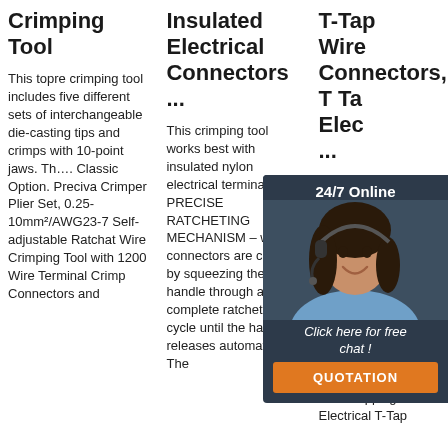Crimping Tool
This topre crimping tool includes five different sets of interchangeable die-casting tips and crimps with 10-point jaws. Th…. Classic Option. Preciva Crimper Plier Set, 0.25-10mm²/AWG23-7 Self-adjustable Ratchat Wire Crimping Tool with 1200 Wire Terminal Crimp Connectors and
Insulated Electrical Connectors ...
This crimping tool works best with insulated nylon electrical terminals PRECISE RATCHETING MECHANISM – wire connectors are crimped by squeezing the handle through a complete ratcheting cycle until the handle releases automatically. The
T-Tap Wire Connectors, T Tap Elec ...
Size: th range i A.W.G 14 A.W 12-10 A.W.G Easy to Stripping Electrical T Tap Wire Connectors can Tap into the cable wire easily Self-Stripping Electrical T-Tap
[Figure (photo): Chat widget with a woman wearing a headset, dark background, '24/7 Online' header, 'Click here for free chat!' text, and orange QUOTATION button]
[Figure (logo): Orange and gray TOP badge with dots]